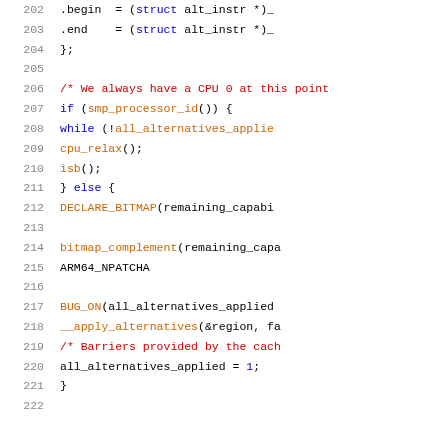Source code listing lines 202-222, C language kernel code with alternative instruction patching logic